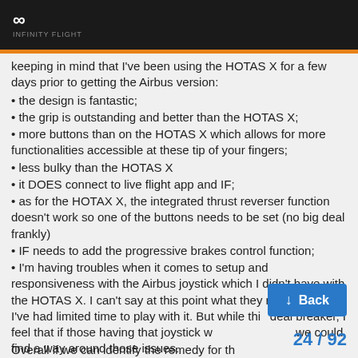Infinity Flight (logo)
keeping in mind that I've been using the HOTAS X for a few days prior to getting the Airbus version:
• the design is fantastic;
• the grip is outstanding and better than the HOTAS X;
• more buttons than on the HOTAS X which allows for more functionalities accessible at these tip of your fingers;
• less bulky than the HOTAS X
• it DOES connect to live flight app and IF;
• as for the HOTAX X, the integrated thrust reverser function doesn't work so one of the buttons needs to be set (no big deal frankly)
• IF needs to add the progressive brakes control function;
• I'm having troubles when it comes to setup and responsiveness with the Airbus joystick which I didn't have with the HOTAS X. I can't say at this point what they relate to since I've had limited time to play with it. But while this deal breaker, I feel that if those having that joystick worked together, we could find a way around those issues.
Overall if we can identify the remedy for th